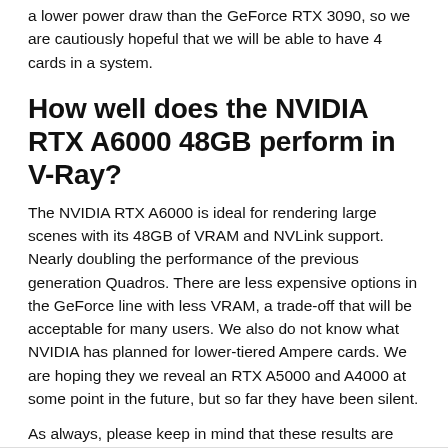a lower power draw than the GeForce RTX 3090, so we are cautiously hopeful that we will be able to have 4 cards in a system.
How well does the NVIDIA RTX A6000 48GB perform in V-Ray?
The NVIDIA RTX A6000 is ideal for rendering large scenes with its 48GB of VRAM and NVLink support. Nearly doubling the performance of the previous generation Quadros. There are less expensive options in the GeForce line with less VRAM, a trade-off that will be acceptable for many users. We also do not know what NVIDIA has planned for lower-tiered Ampere cards. We are hoping they we reveal an RTX A5000 and A4000 at some point in the future, but so far they have been silent.
As always, please keep in mind that these results are strictly for GPU-based rendering in V-Ray. If you have performance concerns for other applications in your workflow, we highly recommend checking out our Hardware Articles (you can filter by "Video Card") for the latest information on how a wide range of programs perform with various GPUs, CPUs, and other hardware.